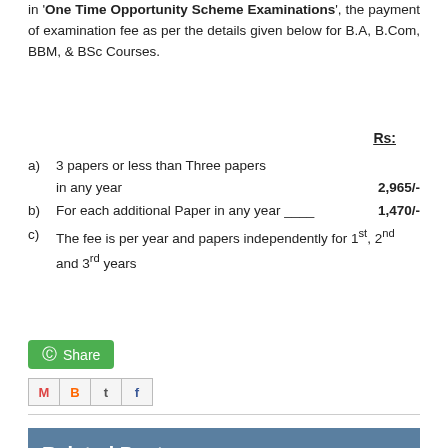in 'One Time Opportunity Scheme Examinations', the payment of examination fee as per the details given below for B.A, B.Com, BBM, & BSc Courses.
Rs:
a) 3 papers or less than Three papers in any year  2,965/-
b) For each additional Paper in any year ____  1,470/-
c) The fee is per year and papers independently for 1st, 2nd and 3rd years
[Figure (other): WhatsApp Share button (green)]
[Figure (other): Social media icons: Gmail, Blogger, Twitter, Facebook]
Related Posts
ANU UG/Degree 4th Sem Special Supply Exam Aug 2022 Notification